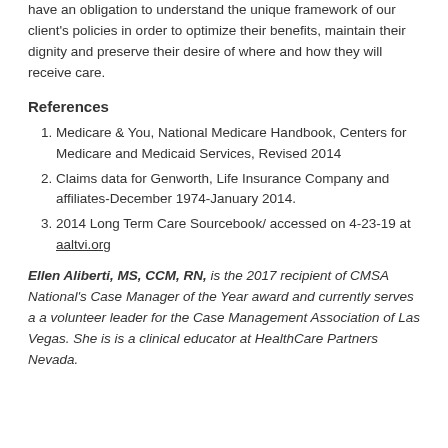have an obligation to understand the unique framework of our client's policies in order to optimize their benefits, maintain their dignity and preserve their desire of where and how they will receive care.
References
Medicare & You, National Medicare Handbook, Centers for Medicare and Medicaid Services, Revised 2014
Claims data for Genworth, Life Insurance Company and affiliates-December 1974-January 2014.
2014 Long Term Care Sourcebook/ accessed on 4-23-19 at aaltvi.org
Ellen Aliberti, MS, CCM, RN, is the 2017 recipient of CMSA National's Case Manager of the Year award and currently serves a a volunteer leader for the Case Management Association of Las Vegas. She is is a clinical educator at HealthCare Partners Nevada.